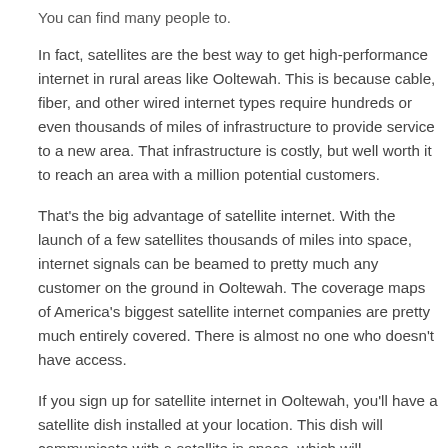You can find many people to.
In fact, satellites are the best way to get high-performance internet in rural areas like Ooltewah. This is because cable, fiber, and other wired internet types require hundreds or even thousands of miles of infrastructure to provide service to a new area. That infrastructure is costly, but well worth it to reach an area with a million potential customers.
That's the big advantage of satellite internet. With the launch of a few satellites thousands of miles into space, internet signals can be beamed to pretty much any customer on the ground in Ooltewah. The coverage maps of America's biggest satellite internet companies are pretty much entirely covered. There is almost no one who doesn't have access.
If you sign up for satellite internet in Ooltewah, you'll have a satellite dish installed at your location. This dish will communicate with a satellite in space, which will...